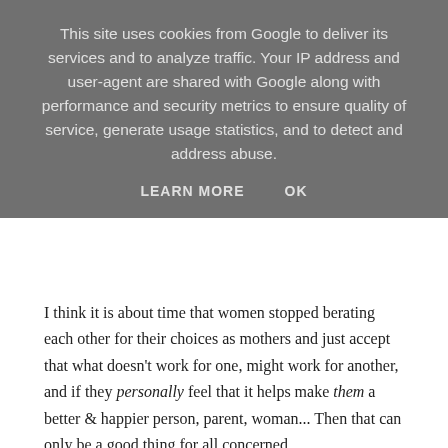This site uses cookies from Google to deliver its services and to analyze traffic. Your IP address and user-agent are shared with Google along with performance and security metrics to ensure quality of service, generate usage statistics, and to detect and address abuse.
LEARN MORE   OK
I think it is about time that women stopped berating each other for their choices as mothers and just accept that what doesn't work for one, might work for another, and if they personally feel that it helps make them a better & happier person, parent, woman... Then that can only be a good thing for all concerned.
LABELS: FAMILY HOLIDAY, HOLIDAYS, SUNSHINE, TRAVEL, VACATION
12 comments:
Unknown 7 August 2012 at 08:54